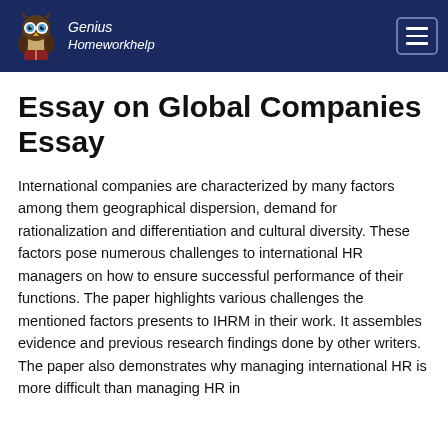Genius Homeworkhelp
Essay on Global Companies Essay
International companies are characterized by many factors among them geographical dispersion, demand for rationalization and differentiation and cultural diversity. These factors pose numerous challenges to international HR managers on how to ensure successful performance of their functions. The paper highlights various challenges the mentioned factors presents to IHRM in their work. It assembles evidence and previous research findings done by other writers. The paper also demonstrates why managing international HR is more difficult than managing HR in